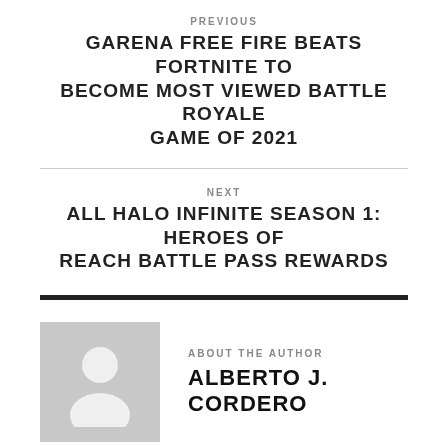PREVIOUS
GARENA FREE FIRE BEATS FORTNITE TO BECOME MOST VIEWED BATTLE ROYALE GAME OF 2021
NEXT
ALL HALO INFINITE SEASON 1: HEROES OF REACH BATTLE PASS REWARDS
ABOUT THE AUTHOR
ALBERTO J. CORDERO
[Figure (illustration): Gray placeholder avatar icon with a person silhouette]